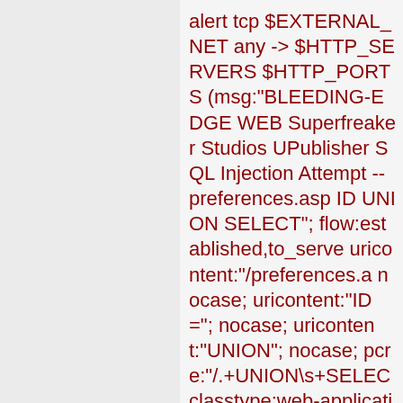alert tcp $EXTERNAL_NET any -> $HTTP_SERVERS $HTTP_PORTS (msg:"BLEEDING-EDGE WEB Superfreaker Studios UPublisher SQL Injection Attempt -- preferences.asp ID UNION SELECT"; flow:established,to_serve uricontent:"/preferences.a nocase; uricontent:"ID="; nocase; uricontent:"UNION"; nocase; pcre:"/.+UNION\s+SELEC classtype:web-application-attack;